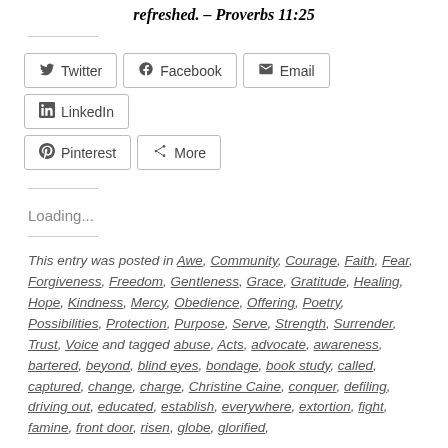refreshed. – Proverbs 11:25
[Figure (other): Social share buttons: Twitter, Facebook, Email, LinkedIn, Pinterest, More]
Loading...
This entry was posted in Awe, Community, Courage, Faith, Fear, Forgiveness, Freedom, Gentleness, Grace, Gratitude, Healing, Hope, Kindness, Mercy, Obedience, Offering, Poetry, Possibilities, Protection, Purpose, Serve, Strength, Surrender, Trust, Voice and tagged abuse, Acts, advocate, awareness, bartered, beyond, blind eyes, bondage, book study, called, captured, change, charge, Christine Caine, conquer, defiling, driving out, educated, establish, everywhere, extortion, fight, famine, front door, risen, globe, glorified, on, God, healing...